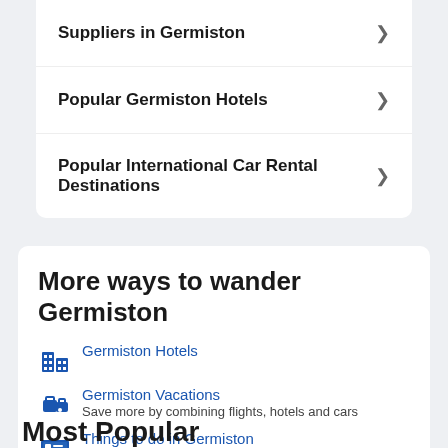Suppliers in Germiston
Popular Germiston Hotels
Popular International Car Rental Destinations
More ways to wander Germiston
Germiston Hotels
Germiston Vacations
Save more by combining flights, hotels and cars
Things to do in Germiston
Most Popular